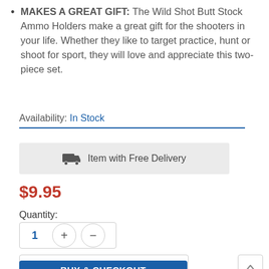MAKES A GREAT GIFT: The Wild Shot Butt Stock Ammo Holders make a great gift for the shooters in your life. Whether they like to target practice, hunt or shoot for sport, they will love and appreciate this two-piece set.
Availability: In Stock
[Figure (other): Delivery banner with truck icon: Item with Free Delivery]
$9.95
Quantity:
[Figure (other): Quantity selector showing 1 with plus and minus buttons]
ADD TO CART
BUY & CHECKOUT